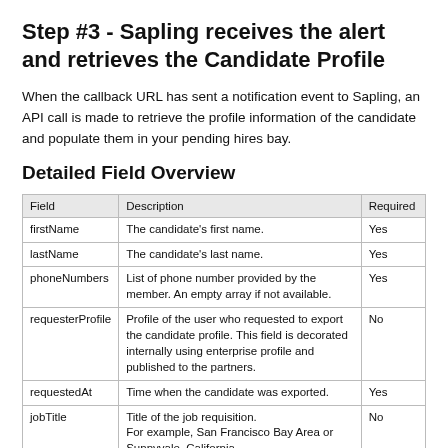Step #3 - Sapling receives the alert and retrieves the Candidate Profile
When the callback URL has sent a notification event to Sapling, an API call is made to retrieve the profile information of the candidate and populate them in your pending hires bay.
Detailed Field Overview
| Field | Description | Required |
| --- | --- | --- |
| firstName | The candidate's first name. | Yes |
| lastName | The candidate's last name. | Yes |
| phoneNumbers | List of phone number provided by the member. An empty array if not available. | Yes |
| requesterProfile | Profile of the user who requested to export the candidate profile. This field is decorated internally using enterprise profile and published to the partners. | No |
| requestedAt | Time when the candidate was exported. | Yes |
| jobTitle | Title of the job requisition.
For example, San Francisco Bay Area or Sunnyvale, California. | No |
| jobLocation | Location of the job requisition. | No |